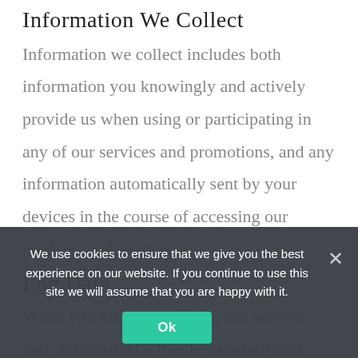Information We Collect
Information we collect includes both information you knowingly and actively provide us when using or participating in any of our services and promotions, and any information automatically sent by your devices in the course of accessing our products and services.
Log Data
When you visit our website, our servers may automatically log the standard data provided by your web browser type and version, the pages you visit, the time and date of your
We use cookies to ensure that we give you the best experience on our website. If you continue to use this site we will assume that you are happy with it.